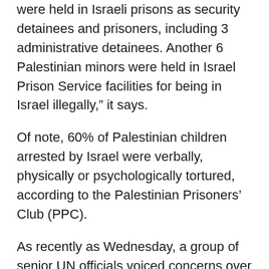were held in Israeli prisons as security detainees and prisoners, including 3 administrative detainees. Another 6 Palestinian minors were held in Israel Prison Service facilities for being in Israel illegally,” it says.
Of note, 60% of Palestinian children arrested by Israel were verbally, physically or psychologically tortured, according to the Palestinian Prisoners’ Club (PPC).
As recently as Wednesday, a group of senior UN officials voiced concerns over the violation of children’s rights in Gaza.